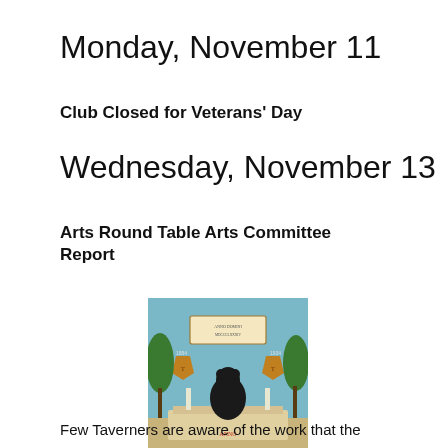Monday, November 11
Club Closed for Veterans' Day
Wednesday, November 13
Arts Round Table Arts Committee Report
[Figure (illustration): A decorative painting showing a bear seated at a table in an ornate garden or hall setting, with heraldic shields and a placard above. Likely a historical or club-related illustration.]
Few Taverners are aware of the work that the